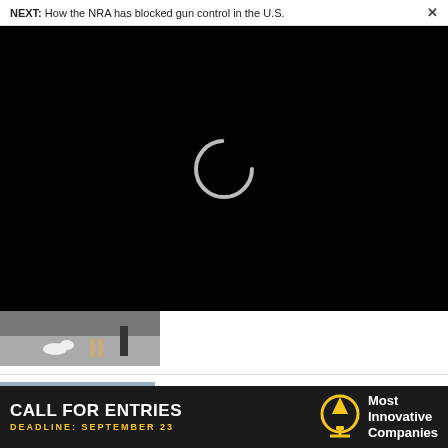NEXT: How the NRA has blocked gun control in the U.S.
[Figure (screenshot): Black video player area with a circular loading spinner in the center]
[Figure (photo): Street scene thumbnail showing a dog and people on a sidewalk]
IDEAS
How this Dutch design convinces residents to swap car parking for bike racks
[Figure (photo): Photo of a bicycle rack area on a city street with many bikes parked]
CALL FOR ENTRIES  DEADLINE: SEPTEMBER 23  Most Innovative Companies